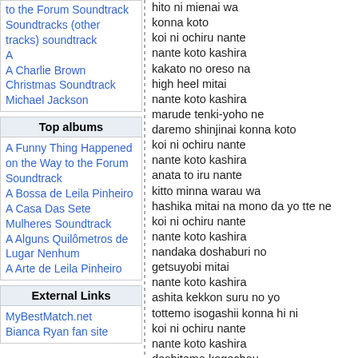to the Forum Soundtrack
Soundtracks (other tracks) soundtrack
A
A Charlie Brown Christmas Soundtrack
Michael Jackson
Top albums
A Funny Thing Happened on the Way to the Forum Soundtrack
A Bossa de Leila Pinheiro
A Casa Das Sete Mulheres Soundtrack
A Alguns Quilômetros de Lugar Nenhum
A Arte de Leila Pinheiro
External Links
MyBestMatch.net
Bianca Ryan fan site
hito ni mienai wa
konna koto
koi ni ochiru nante
nante koto kashira
kakato no oreso na
high heel mitai
nante koto kashira
marude tenki-yoho ne
daremo shinjinai konna koto
koi ni ochiru nante
nante koto kashira
anata to iru nante
kitto minna warau wa
hashika mitai na mono da yo tte ne
koi ni ochiru nante
nante koto kashira
nandaka doshaburi no
getsuyobi mitai
nante koto kashira
ashita kekkon suru no yo
tottemo isogashii konna hi ni
koi ni ochiru nante
nante koto kashira
doshitemo kogechau
souffle mitai ne
itsumo kore desu mono
nante koto kashira
honto ni tsuitenai